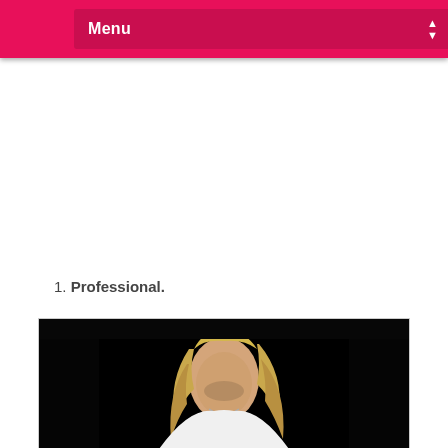Menu
1. Professional.
[Figure (photo): A blonde woman in white clothing photographed against a dark background, looking downward.]